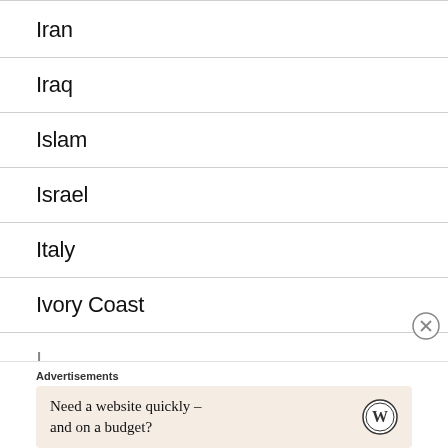Iran
Iraq
Islam
Israel
Italy
Ivory Coast
Advertisements
Need a website quickly – and on a budget?